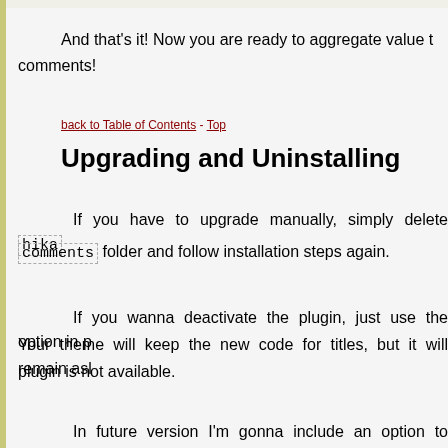And that's it! Now you are ready to aggregate value to comments!
back to Table of Contents - Top
Upgrading and Uninstalling
If you have to upgrade manually, simply delete hika comments folder and follow installation steps again.
If you wanna deactivate the plugin, just use the option in p Your theme will keep the new code for titles, but it will remain asl plugin is not available.
In future version I'm gonna include an option to delete titles m